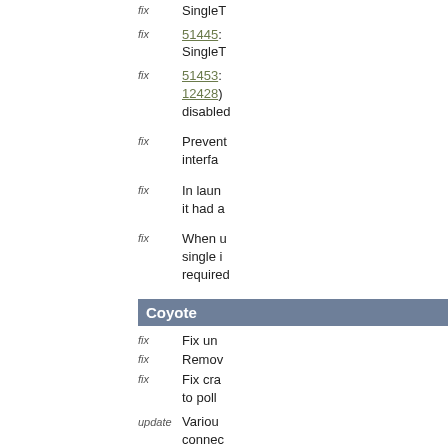[fix icon] SingleT...
[fix icon] 51445: SingleT...
[fix icon] 51453: 12428) disabled...
[fix icon] Prevent... interfa...
[fix icon] In laun... it had a...
[fix icon] When u... single i... required...
Coyote
[fix icon] Fix un...
[fix icon] Remov...
[fix icon] Fix cra... to poll...
[update icon] Variou... connec...
[fix icon] Correc...